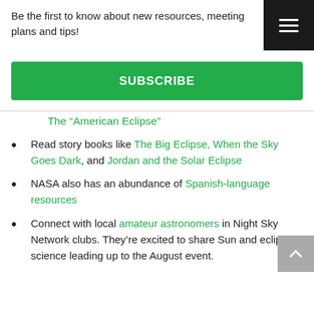Be the first to know about new resources, meeting plans and tips!
SUBSCRIBE
The “American Eclipse”
Read story books like The Big Eclipse, When the Sky Goes Dark, and Jordan and the Solar Eclipse
NASA also has an abundance of Spanish-language resources
Connect with local amateur astronomers in Night Sky Network clubs. They’re excited to share Sun and eclipse science leading up to the August event.